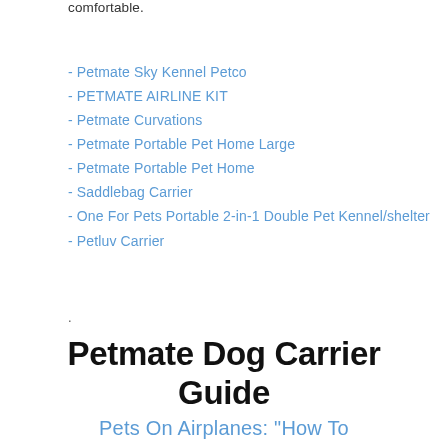comfortable.
- Petmate Sky Kennel Petco
- PETMATE AIRLINE KIT
- Petmate Curvations
- Petmate Portable Pet Home Large
- Petmate Portable Pet Home
- Saddlebag Carrier
- One For Pets Portable 2-in-1 Double Pet Kennel/shelter
- Petluv Carrier
.
Petmate Dog Carrier Guide
Pets On Airplanes: "How To